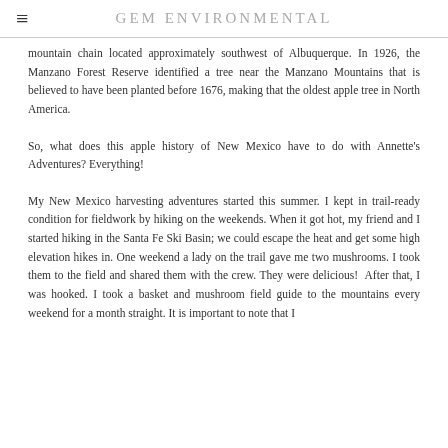GEM ENVIRONMENTAL
mountain chain located approximately southwest of Albuquerque. In 1926, the Manzano Forest Reserve identified a tree near the Manzano Mountains that is believed to have been planted before 1676, making that the oldest apple tree in North America.
So, what does this apple history of New Mexico have to do with Annette's Adventures? Everything!
My New Mexico harvesting adventures started this summer. I kept in trail-ready condition for fieldwork by hiking on the weekends. When it got hot, my friend and I started hiking in the Santa Fe Ski Basin; we could escape the heat and get some high elevation hikes in. One weekend a lady on the trail gave me two mushrooms. I took them to the field and shared them with the crew. They were delicious!  After that, I was hooked. I took a basket and mushroom field guide to the mountains every weekend for a month straight. It is important to note that I